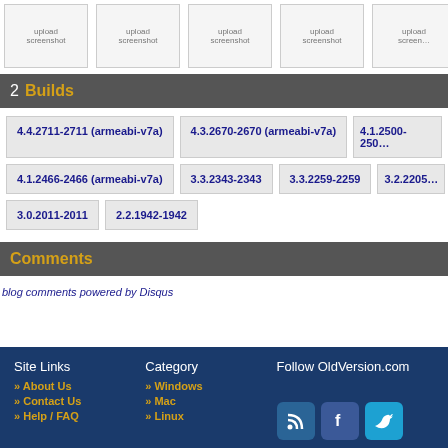[Figure (screenshot): Row of 5 screenshot placeholder boxes labeled 'upload screenshot']
2 Builds
4.4.2711-2711 (armeabi-v7a)
4.3.2670-2670 (armeabi-v7a)
4.1.2500-250…
4.1.2466-2466 (armeabi-v7a)
3.3.2343-2343
3.3.2259-2259
3.2.2205…
3.0.2011-2011
2.2.1942-1942
Comments
blog comments powered by Disqus
Site Links | About Us | Contact Us | Help / FAQ | Category | Windows | Mac | Linux | Follow OldVersion.com